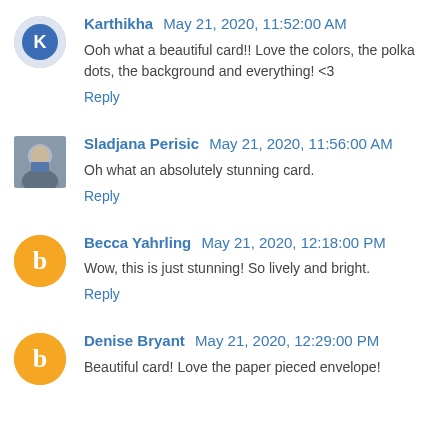Karthikha May 21, 2020, 11:52:00 AM
Ooh what a beautiful card!! Love the colors, the polka dots, the background and everything! <3
Reply
Sladjana Perisic May 21, 2020, 11:56:00 AM
Oh what an absolutely stunning card.
Reply
Becca Yahrling May 21, 2020, 12:18:00 PM
Wow, this is just stunning! So lively and bright.
Reply
Denise Bryant May 21, 2020, 12:29:00 PM
Beautiful card! Love the paper pieced envelope!